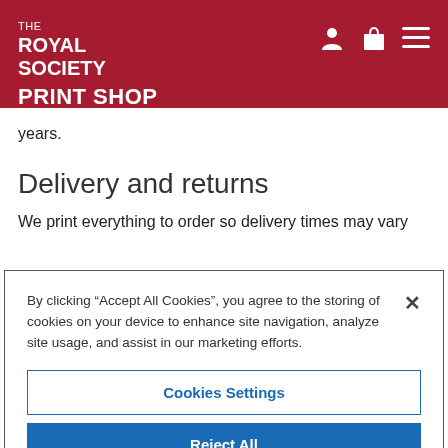THE ROYAL SOCIETY PRINT SHOP
years.
Delivery and returns
We print everything to order so delivery times may vary
By clicking “Accept All Cookies”, you agree to the storing of cookies on your device to enhance site navigation, analyze site usage, and assist in our marketing efforts.
Cookies Settings
Reject All
Accept All Cookies